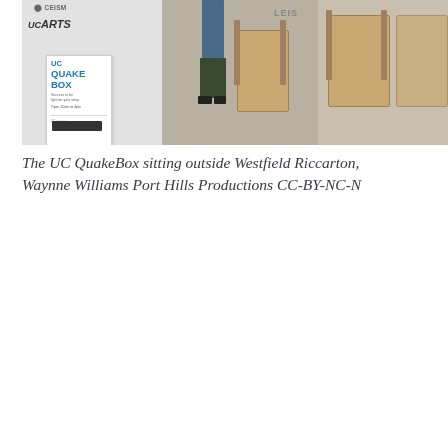[Figure (photo): The UC QuakeBox sitting outside Westfield Riccarton. A white shipping container booth displaying 'UC QuakeBox' signage is visible, with wooden director's chairs nearby and a person standing beside it.]
The UC QuakeBox sitting outside Westfield Riccarton, Waynne Williams Port Hills Productions CC-BY-NC-N